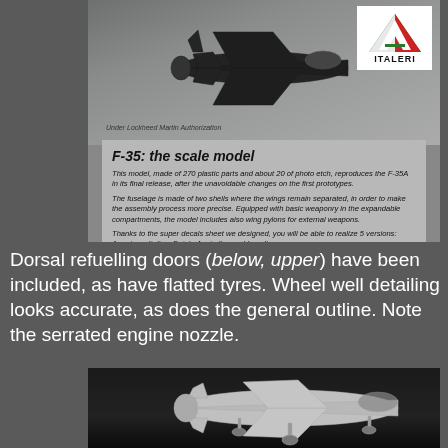[Figure (photo): F-35 fighter jet aircraft photograph from the side, dark/stealth coloring, Italeri logo top right, on gray background. Caption: Under Lockheed Martin Authorization]
Under Lockheed Martin Authorization
F-35: the scale model
This model, made of 270 plastic parts and about 20 of photo etch, reproduces the F-35A in its final release, after the unavoidable changes on the first prototypes. The fuselage is made of two shells where the wings remain separated, in order to make the assembly process more precise. Equipped with basic weaponry in the expandable compartments, the model includes also wing pylons for external weapons. Thanks to the super decals sheet we designed, you will be able to realize 5 versions: American, Italian, Dutch, Australian and Israeli.
Dorsal refuelling doors (below, upper) have been included, as have flatted tyres. Wheel well detailing looks accurate, as does the general outline. Note the serrated engine nozzle.
[Figure (photo): Scale model photo of F-35 aircraft, light gray/white unpainted model on dark background, three-quarter front view showing landing gear deployed.]
[Figure (photo): Partial bottom strip showing additional scale model detail photos.]